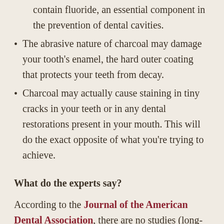contain fluoride, an essential component in the prevention of dental cavities.
The abrasive nature of charcoal may damage your tooth's enamel, the hard outer coating that protects your teeth from decay.
Charcoal may actually cause staining in tiny cracks in your teeth or in any dental restorations present in your mouth. This will do the exact opposite of what you're trying to achieve.
What do the experts say?
According to the Journal of the American Dental Association, there are no studies (long-term or otherwise) that show the safety or efficacy of using...